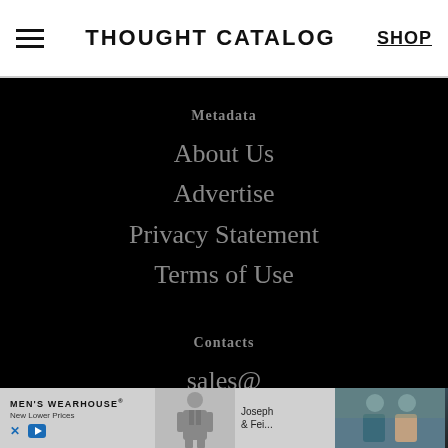THOUGHT CATALOG | SHOP
Metadata
About Us
Advertise
Privacy Statement
Terms of Use
Contacts
sales@
hello@
[Figure (screenshot): Men's Wearhouse advertisement banner with suit figure, 'Joseph & Fei...' text, and photo of couple]